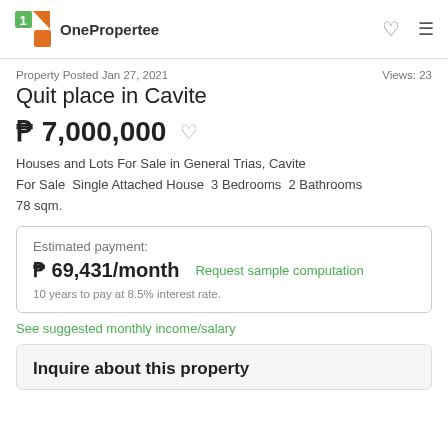OnePropertee
Property Posted Jan 27, 2021    Views: 23
Quit place in Cavite
₱ 7,000,000
Houses and Lots For Sale in General Trias, Cavite  For Sale  Single Attached House  3 Bedrooms  2 Bathrooms  78 sqm.
Estimated payment:
₱ 69,431/month  Request sample computation
10 years to pay at 8.5% interest rate.
See suggested monthly income/salary
Inquire about this property